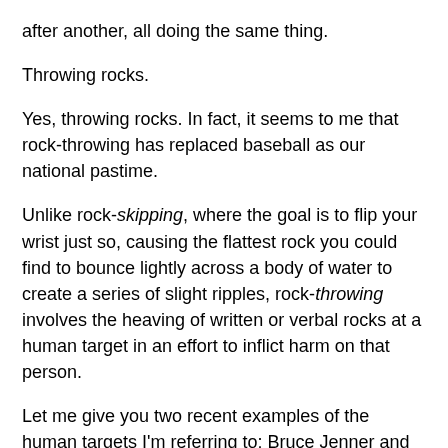after another, all doing the same thing.
Throwing rocks.
Yes, throwing rocks. In fact, it seems to me that rock-throwing has replaced baseball as our national pastime.
Unlike rock-skipping, where the goal is to flip your wrist just so, causing the flattest rock you could find to bounce lightly across a body of water to create a series of slight ripples, rock-throwing involves the heaving of written or verbal rocks at a human target in an effort to inflict harm on that person.
Let me give you two recent examples of the human targets I'm referring to: Bruce Jenner and Josh Duggar.
I'm sure I don't need to explain who these two individuals are or why people are throwing stones at them. I'm also sure I don't need to clarify the nature of the verbal rocks that have been chucked at the two.
Before your indignation rises and you give in to the urge to